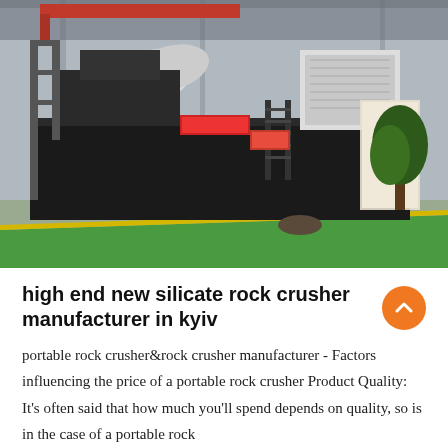[Figure (photo): A large mobile rock crusher machine mounted on a truck trailer, photographed inside an industrial warehouse/hangar. The machine is dark gray/black with white cylindrical components on top. A green floor strip and tree/banner visible in background.]
high end new silicate rock crusher manufacturer in kyiv
portable rock crusher&amp;rock crusher manufacturer - Factors influencing the price of a portable rock crusher Product Quality: It's often said that how much you'll spend depends on quality, so is in the case of a portable rock